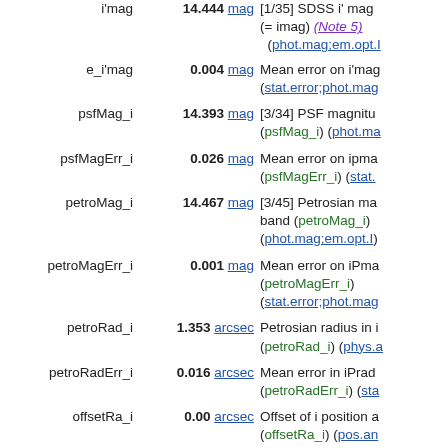| Name | Value | Description |
| --- | --- | --- |
| e_i'mag | 0.004 mag | Mean error on i'mag (stat.error;phot.mag) |
| psfMag_i | 14.393 mag | [3/34] PSF magnitude (psfMag_i) (phot.ma...) |
| psfMagErr_i | 0.026 mag | Mean error on ipma... (psfMagErr_i) (stat.... |
| petroMag_i | 14.467 mag | [3/45] Petrosian ma... band (petroMag_i) (phot.mag;em.opt.I) |
| petroMagErr_i | 0.001 mag | Mean error on iPma... (petroMagErr_i) (stat.error;phot.mag) |
| petroRad_i | 1.353 arcsec | Petrosian radius in i... (petroRad_i) (phys.a...) |
| petroRadErr_i | 0.016 arcsec | Mean error in iPrad... (petroRadErr_i) (sta...) |
| offsetRa_i | 0.00 arcsec | Offset of i position a... (offsetRa_i) (pos.an...) |
| offsetDec_i | -0.02 arcsec | Offset of i position a... (offsetDec_i) (pos.a...) |
| deVRad_i | 0.000 arcsec | de Vaucouleurs fit r... |